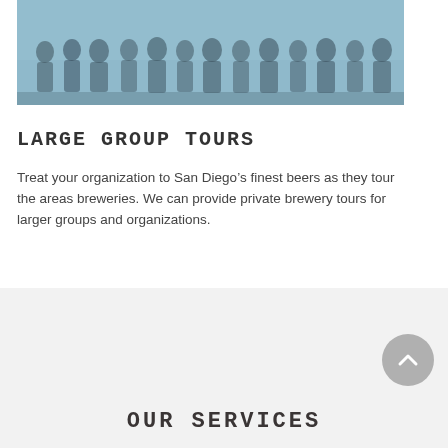[Figure (photo): Group of people standing together outdoors, photo with blue-grey tint overlay]
LARGE GROUP TOURS
Treat your organization to San Diego’s finest beers as they tour the areas breweries. We can provide private brewery tours for larger groups and organizations.
OUR SERVICES